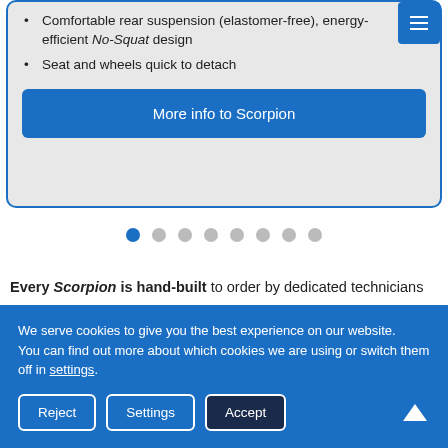Comfortable rear suspension (elastomer-free), energy-efficient No-Squat design
Seat and wheels quick to detach
More info to Scorpion
[Figure (other): Pagination dots: 8 dots, first one active (blue), rest gray]
Every Scorpion is hand-built to order by dedicated technicians
We serve cookies to give you the best experience on our website.
You can find out more about which cookies we are using or switch them off in settings.
Reject
Settings
Accept